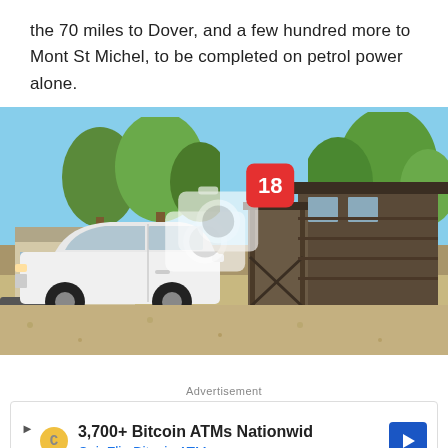the 70 miles to Dover, and a few hundred more to Mont St Michel, to be completed on petrol power alone.
[Figure (photo): Outdoor photo of a white SUV parked beside a wooden cabin-style building with a porch, surrounded by trees and gravel driveway under a clear blue sky. A camera icon overlay with the number 18 is displayed in the center.]
Advertisement
3,700+ Bitcoin ATMs Nationwid CoinFlip Bitcoin ATM